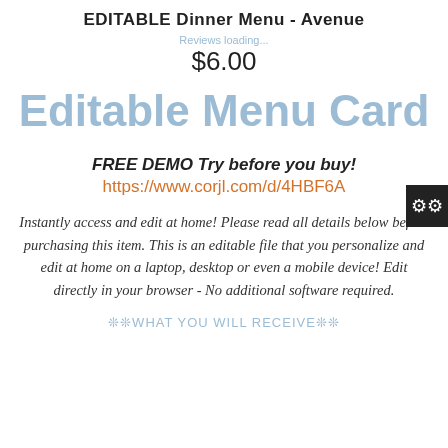EDITABLE Dinner Menu - Avenue
Reviews loading...
$6.00
Editable Menu Card
FREE DEMO Try before you buy!
https://www.corjl.com/d/4HBF6A
Instantly access and edit at home! Please read all details below before purchasing this item. This is an editable file that you personalize and edit at home on a laptop, desktop or even a mobile device! Edit directly in your browser - No additional software required.
❊❊WHAT YOU WILL RECEIVE❊❊